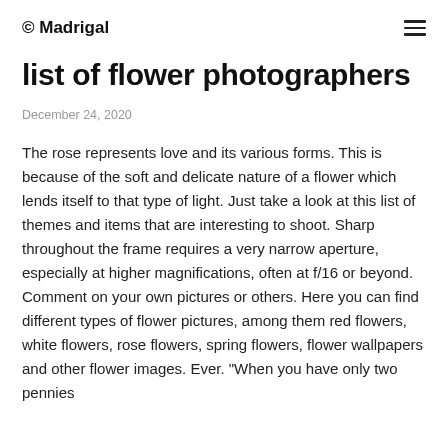© Madrigal
list of flower photographers
December 24, 2020
The rose represents love and its various forms. This is because of the soft and delicate nature of a flower which lends itself to that type of light. Just take a look at this list of themes and items that are interesting to shoot. Sharp throughout the frame requires a very narrow aperture, especially at higher magnifications, often at f/16 or beyond. Comment on your own pictures or others. Here you can find different types of flower pictures, among them red flowers, white flowers, rose flowers, spring flowers, flower wallpapers and other flower images. Ever. "When you have only two pennies